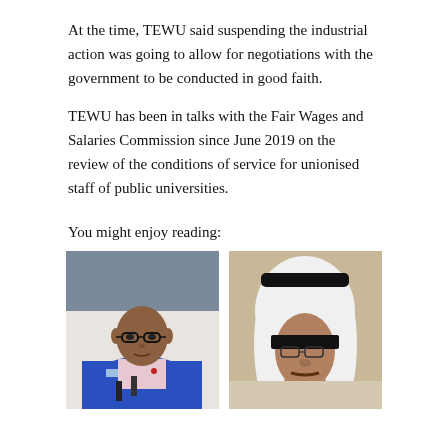At the time, TEWU said suspending the industrial action was going to allow for negotiations with the government to be conducted in good faith.
TEWU has been in talks with the Fair Wages and Salaries Commission since June 2019 on the review of the conditions of service for unionised staff of public universities.
You might enjoy reading:
[Figure (photo): Man in blue suit jacket and glasses, seated at a desk with microphones in front of him]
[Figure (photo): Man wearing white traditional Middle Eastern headwear (keffiyeh) and glasses, with a black bar across his eyes]